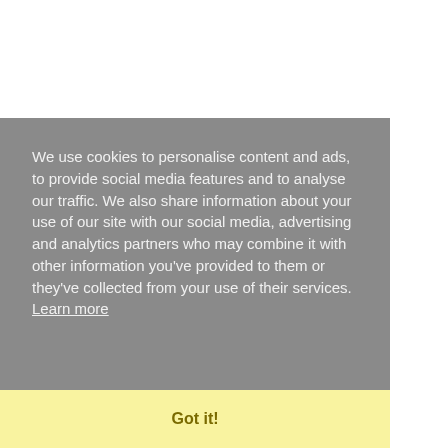We use cookies to personalise content and ads, to provide social media features and to analyse our traffic. We also share information about your use of our site with our social media, advertising and analytics partners who may combine it with other information you've provided to them or they've collected from your use of their services.  Learn more
Got it!